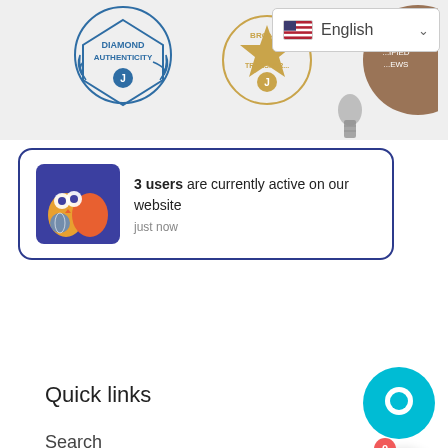[Figure (screenshot): Top bar with badge icons (Diamond Authenticity, Bronze Transparency) and English language selector dropdown]
[Figure (infographic): Notification popup with purple owl icon: '3 users are currently active on our website - just now']
Quick links
Search
Affiliate program
Loyalty program
Shipping policy
Refund policy
[Figure (infographic): Shopping cart icon button with badge showing 0]
[Figure (infographic): Teal circle chat button]